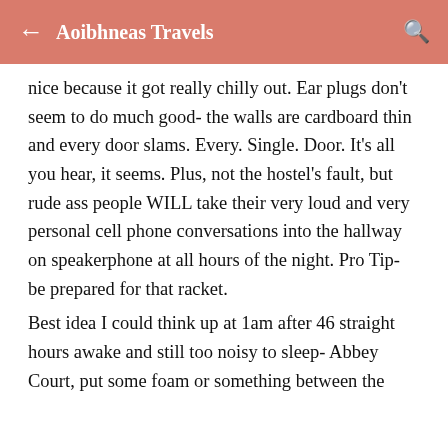Aoibhneas Travels
nice because it got really chilly out. Ear plugs don't seem to do much good- the walls are cardboard thin and every door slams. Every. Single. Door. It's all you hear, it seems. Plus, not the hostel's fault, but rude ass people WILL take their very loud and very personal cell phone conversations into the hallway on speakerphone at all hours of the night. Pro Tip- be prepared for that racket.
Best idea I could think up at 1am after 46 straight hours awake and still too noisy to sleep- Abbey Court, put some foam or something between the